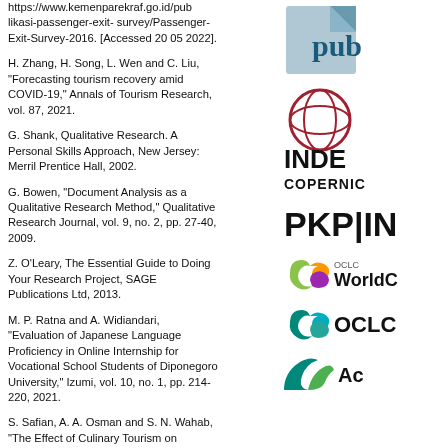https://www.kemenparekraf.go.id/publikasi-passenger-exit-survey/Passenger-Exit-Survey-2016. [Accessed 20 05 2022].
H. Zhang, H. Song, L. Wen and C. Liu, "Forecasting tourism recovery amid COVID-19," Annals of Tourism Research, vol. 87, 2021.
G. Shank, Qualitative Research. A Personal Skills Approach, New Jersey: Merril Prentice Hall, 2002.
G. Bowen, "Document Analysis as a Qualitative Research Method," Qualitative Research Journal, vol. 9, no. 2, pp. 27-40, 2009.
Z. O'Leary, The Essential Guide to Doing Your Research Project, SAGE Publications Ltd, 2013.
M. P. Ratna and A. Widiandari, "Evaluation of Japanese Language Proficiency in Online Internship for Vocational School Students of Diponegoro University," Izumi, vol. 10, no. 1, pp. 214-220, 2021.
S. Safian, A. A. Osman and S. N. Wahab, "The Effect of Culinary Tourism on Tourists' Loyalty and
Satisfaction: A Comparison Analysis Between the First and," International Journal of Academic Research in Business and Social Sciences, vol. 11,
[Figure (logo): pub logo - document icon with teal/dark teal colors and text 'pub']
[Figure (logo): Index Copernicus logo with globe graphic and text 'INDE' and 'COPERNIC']
[Figure (logo): PKP|IN logo in bold black text]
[Figure (logo): OCLC WorldCat logo with swirl icon and text 'WorldC']
[Figure (logo): OCLC logo with teal swirl icon and text 'OCLC']
[Figure (logo): Partial logo at bottom right, teal/green colors with 'Ac' text]